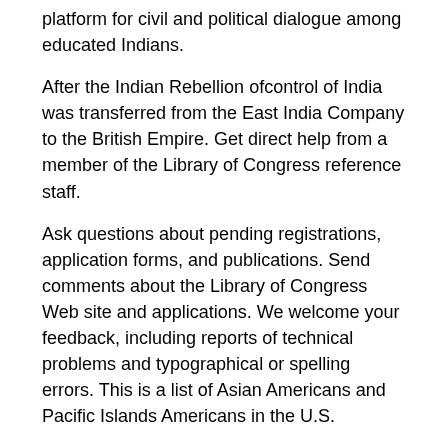platform for civil and political dialogue among educated Indians.
After the Indian Rebellion ofcontrol of India was transferred from the East India Company to the British Empire. Get direct help from a member of the Library of Congress reference staff.
Ask questions about pending registrations, application forms, and publications. Send comments about the Library of Congress Web site and applications. We welcome your feedback, including reports of technical problems and typographical or spelling errors. This is a list of Asian Americans and Pacific Islands Americans in the U.S.
Congress. Asian Americans are Americans of Asian descent. The term refers to a panethnic group that includes diverse populations, which have ancestral origins in East Asia, South Asia, or Southeast Asia, as defined by the U.S. Census Bureau.
Pacific Islands Americans, also known as Oceanian. Current Members of the th Congress About Members. How to Contact Your Member. Member websites provide comprehensive contact information.